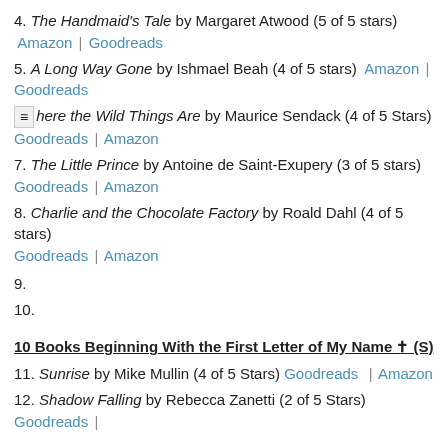4. The Handmaid's Tale by Margaret Atwood (5 of 5 stars)  Amazon | Goodreads
5. A Long Way Gone by Ishmael Beah (4 of 5 stars)  Amazon | Goodreads
≡ here the Wild Things Are by Maurice Sendack (4 of 5 Stars)  Goodreads | Amazon
7. The Little Prince by Antoine de Saint-Exupery (3 of 5 stars)  Goodreads | Amazon
8. Charlie and the Chocolate Factory by Roald Dahl (4 of 5 stars)  Goodreads | Amazon
9.
10.
10 Books Beginning With the First Letter of My Name ☩ (S)
11. Sunrise by Mike Mullin (4 of 5 Stars)  Goodreads | Amazon
12. Shadow Falling by Rebecca Zanetti (2 of 5 Stars)  Goodreads |